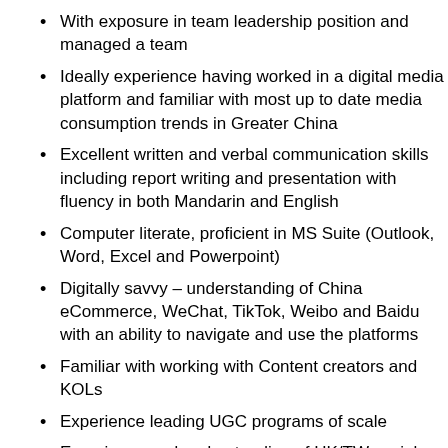With exposure in team leadership position and managed a team
Ideally experience having worked in a digital media platform and familiar with most up to date media consumption trends in Greater China
Excellent written and verbal communication skills including report writing and presentation with fluency in both Mandarin and English
Computer literate, proficient in MS Suite (Outlook, Word, Excel and Powerpoint)
Digitally savvy – understanding of China eCommerce, WeChat, TikTok, Weibo and Baidu with an ability to navigate and use the platforms
Familiar with working with Content creators and KOLs
Experience leading UGC programs of scale
Experience and understanding of HK/TW social media platforms; Youtube, Facebook, WhatsApp, Line
Excellent interpersonal and people management skills
With experience working with international companies and clients in and outside of Greater China
Team player. Happy to process and support diverse